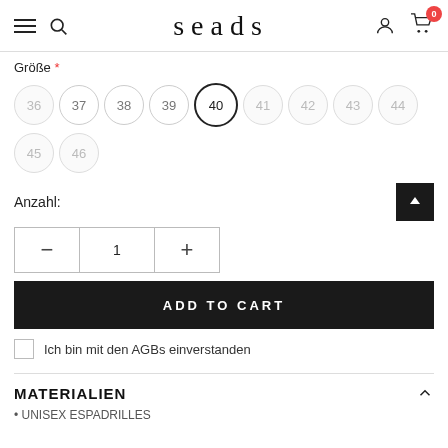seads — navigation header with hamburger, search, logo, account, cart (0)
Größe *
Size options: 36, 37, 38, 39, 40 (selected), 41, 42, 43, 44, 45, 46
Anzahl:
Quantity control: − 1 +
ADD TO CART
Ich bin mit den AGBs einverstanden
MATERIALIEN
• UNISEX ESPADRILLES